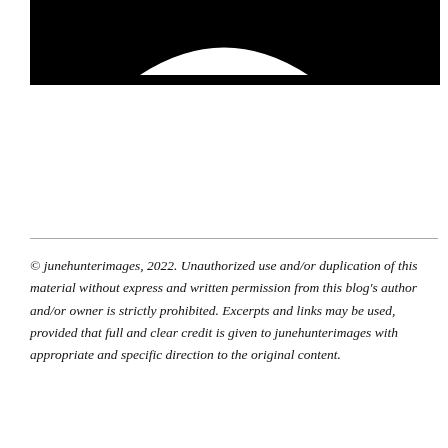[Figure (photo): Partial black and white photograph visible at the top of the page, showing a white shape (possibly a logo or figure) against a black background.]
© junehunterimages, 2022. Unauthorized use and/or duplication of this material without express and written permission from this blog's author and/or owner is strictly prohibited. Excerpts and links may be used, provided that full and clear credit is given to junehunterimages with appropriate and specific direction to the original content.